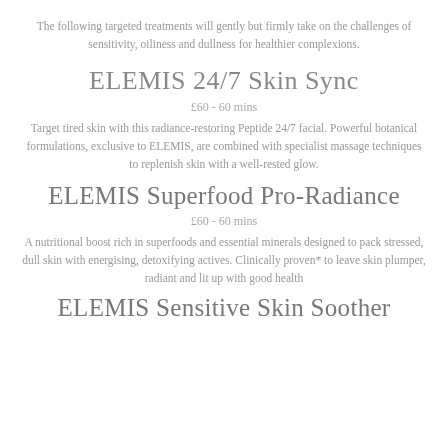The following targeted treatments will gently but firmly take on the challenges of sensitivity, oiliness and dullness for healthier complexions.
ELEMIS 24/7 Skin Sync
£60 - 60 mins
Target tired skin with this radiance-restoring Peptide 24/7 facial. Powerful botanical formulations, exclusive to ELEMIS, are combined with specialist massage techniques to replenish skin with a well-rested glow.
ELEMIS Superfood Pro-Radiance
£60 - 60 mins
A nutritional boost rich in superfoods and essential minerals designed to pack stressed, dull skin with energising, detoxifying actives. Clinically proven* to leave skin plumper, radiant and lit up with good health
ELEMIS Sensitive Skin Soother